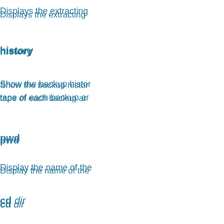Displays the extracting
history
Show the backup history tape of each backup are
pwd
Display the name of the
cd dir
Change the backup wo can be a full pathname point was not specified, are relative to the curre
cdx dir
Like the cd command b
lpwd
Display the amrecover the backed up filesysto